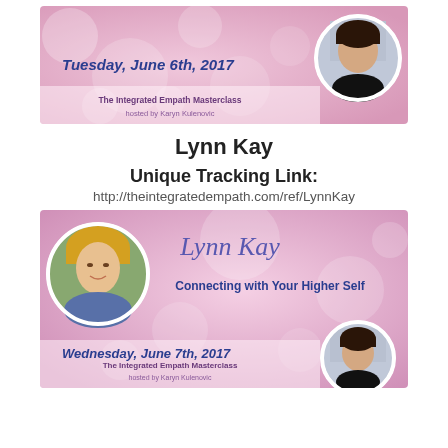[Figure (illustration): Pink bokeh banner for The Integrated Empath Masterclass, Tuesday June 6th 2017, hosted by Karyn Kulenovic, with circular photo of dark-haired woman (host)]
Lynn Kay
Unique Tracking Link:
http://theintegratedempath.com/ref/LynnKay
[Figure (illustration): Pink bokeh banner for The Integrated Empath Masterclass with Lynn Kay, Connecting with Your Higher Self, Wednesday June 7th 2017, hosted by Karyn Kulenovic, with circular photo of blonde woman (Lynn Kay) and host photo]